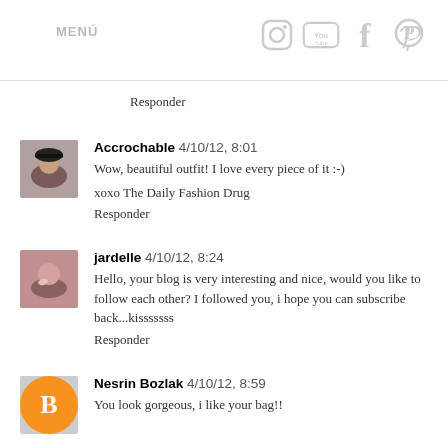MENÚ
Responder
Accrochable 4/10/12, 8:01
Wow, beautiful outfit! I love every piece of it :-)

xoxo The Daily Fashion Drug
Responder
jardelle 4/10/12, 8:24
Hello, your blog is very interesting and nice, would you like to follow each other? I followed you, i hope you can subscribe back...kisssssss
Responder
Nesrin Bozlak 4/10/12, 8:59
You look gorgeous, i like your bag!!